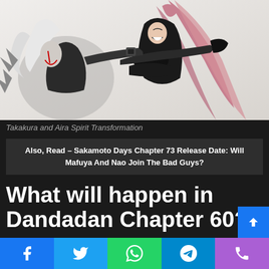[Figure (illustration): Anime illustration of Takakura and Aira in Spirit Transformation form — two characters in dark outfits with long pink hair and white hair, in fighting poses against a white background.]
Takakura and Aira Spirit Transformation
Also, Read – Sakamoto Days Chapter 73 Release Date: Will Mafuya And Nao Join The Bad Guys?
What will happen in Dandadan Chapter 60?